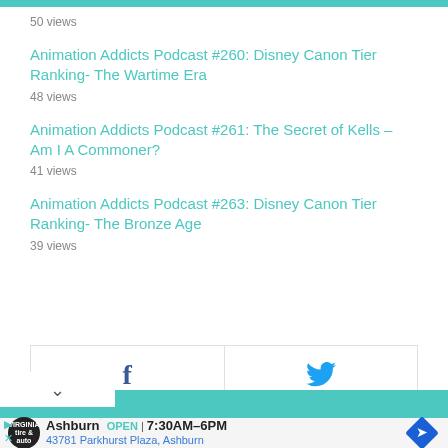50 views
Animation Addicts Podcast #260: Disney Canon Tier Ranking- The Wartime Era
48 views
Animation Addicts Podcast #261: The Secret of Kells – Am I A Commoner?
41 views
Animation Addicts Podcast #263: Disney Canon Tier Ranking- The Bronze Age
39 views
[Figure (screenshot): Social sharing bar with Facebook and Twitter icons]
Ashburn OPEN 7:30AM–6PM 43781 Parkhurst Plaza, Ashburn